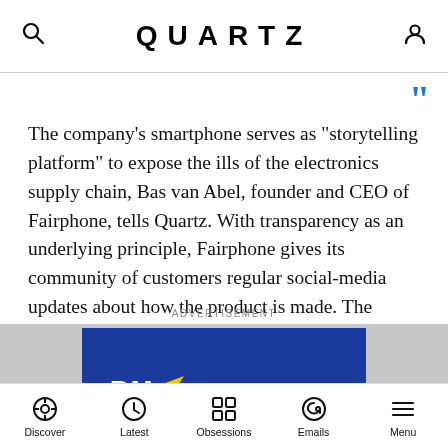QUARTZ
The company’s smartphone serves as “storytelling platform” to expose the ills of the electronics supply chain, Bas van Abel, founder and CEO of Fairphone, tells Quartz. With transparency as an underlying principle, Fairphone gives its community of customers regular social-media updates about how the product is made. The company also flags any problems it encounters, such as finding a suitable factory that can ethically manufacture a relatively small run of devices.
ADVERTISEMENT
[Figure (other): Advertisement banner with blue background, yellow arrow logo, and partial text 'RM']
Discover | Latest | Obsessions | Emails | Menu